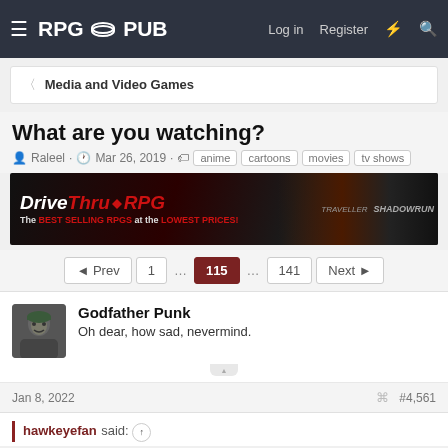RPG PUB — Log in  Register
< Media and Video Games
What are you watching?
Raleel · Mar 26, 2019 · anime  cartoons  movies  tv shows
[Figure (other): DriveThruRPG advertisement banner: The BEST SELLING RPGS at the LOWEST PRICES!]
◄ Prev  1  ...  115  ...  141  Next ►
Godfather Punk
Oh dear, how sad, nevermind.
Jan 8, 2022  #4,561
hawkeyefan said: ↑